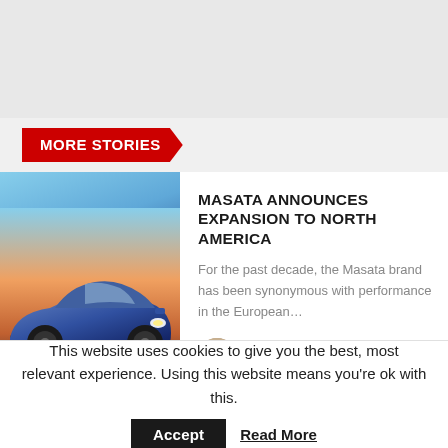MORE STORIES
[Figure (photo): Blue sports car (Masata brand) on a road at sunset, with text 'MASATA | DESIGNED AND DEVELOPED IN UNITED KINGDOM']
MASATA ANNOUNCES EXPANSION TO NORTH AMERICA
For the past decade, the Masata brand has been synonymous with performance in the European…
Marcus M.
April 1, 2022
This website uses cookies to give you the best, most relevant experience. Using this website means you're ok with this.
Accept
Read More